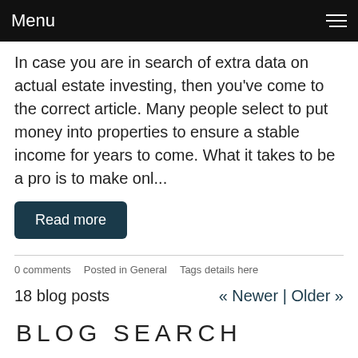Menu
In case you are in search of extra data on actual estate investing, then you've come to the correct article. Many people select to put money into properties to ensure a stable income for years to come. What it takes to be a pro is to make onl...
Read more
0 comments   Posted in General   Tags details here
18 blog posts   « Newer | Older »
BLOG SEARCH